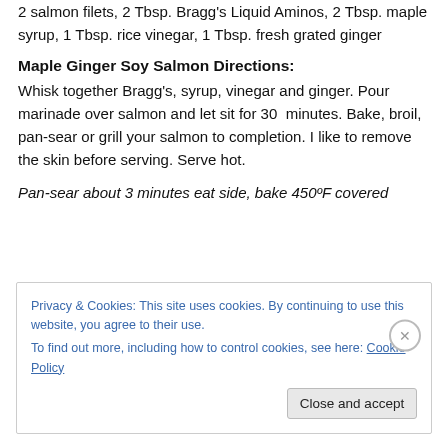2 salmon filets, 2 Tbsp. Bragg's Liquid Aminos, 2 Tbsp. maple syrup, 1 Tbsp. rice vinegar, 1 Tbsp. fresh grated ginger
Maple Ginger Soy Salmon Directions:
Whisk together Bragg's, syrup, vinegar and ginger. Pour marinade over salmon and let sit for 30 minutes. Bake, broil, pan-sear or grill your salmon to completion. I like to remove the skin before serving. Serve hot.
Pan-sear about 3 minutes eat side, bake 450ºF covered
Privacy & Cookies: This site uses cookies. By continuing to use this website, you agree to their use.
To find out more, including how to control cookies, see here: Cookie Policy
Close and accept